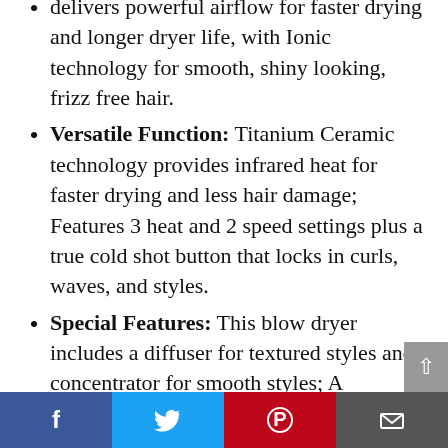delivers powerful airflow for faster drying and longer dryer life, with Ionic technology for smooth, shiny looking, frizz free hair.
Versatile Function: Titanium Ceramic technology provides infrared heat for faster drying and less hair damage; Features 3 heat and 2 speed settings plus a true cold shot button that locks in curls, waves, and styles.
Special Features: This blow dryer includes a diffuser for textured styles and concentrator for smooth styles; A removeable lint filter allows for easy maintenance and longer motor life.
Leader in Hair Dryers: From traditional bonnets to hi tech dryers equipped with
Facebook | Twitter | Pinterest | Email